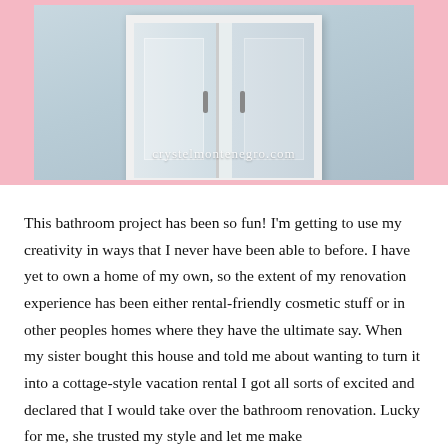[Figure (photo): Photo of a white bathroom medicine cabinet with mirrored doors, set against a pink background. Watermark reads 'crystelmontenegro.com']
This bathroom project has been so fun! I'm getting to use my creativity in ways that I never have been able to before. I have yet to own a home of my own, so the extent of my renovation experience has been either rental-friendly cosmetic stuff or in other peoples homes where they have the ultimate say. When my sister bought this house and told me about wanting to turn it into a cottage-style vacation rental I got all sorts of excited and declared that I would take over the bathroom renovation. Lucky for me, she trusted my style and let me make